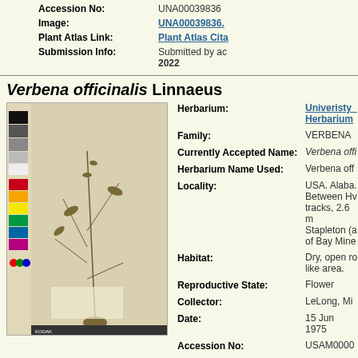Accession No: UNA00039836
Image: UNA00039836.
Plant Atlas Link: Plant Atlas Cita
Submission Info: Submitted by ad 2022
Verbena officinalis Linnaeus
[Figure (photo): Herbarium specimen photo of Verbena officinalis showing dried plant with stems and leaves mounted on paper with color calibration strip on left side]
Herbarium: Univeristy_ Herbarium
Family: VERBENA
Currently Accepted Name: Verbena offi
Herbarium Name Used: Verbena off
Locality: USA. Alaba. Between Hv tracks, 2.6 m Stapleton (a of Bay Mine
Habitat: Dry, open ro like area.
Reproductive State: Flower
Collector: LeLong, Mi
Date: 15 Jun 1975
Accession No: USAM0000